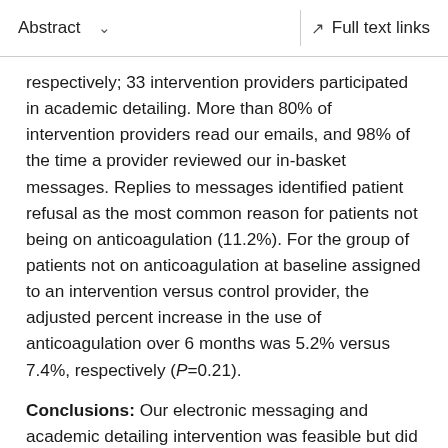Abstract  ∨    Full text links
respectively; 33 intervention providers participated in academic detailing. More than 80% of intervention providers read our emails, and 98% of the time a provider reviewed our in-basket messages. Replies to messages identified patient refusal as the most common reason for patients not being on anticoagulation (11.2%). For the group of patients not on anticoagulation at baseline assigned to an intervention versus control provider, the adjusted percent increase in the use of anticoagulation over 6 months was 5.2% versus 7.4%, respectively (P=0.21).
Conclusions: Our electronic messaging and academic detailing intervention was feasible but did not increase anticoagulation use. Patient-directed interventions or provider interventions targeting patients declining anticoagulation may be necessary to raise the rate of